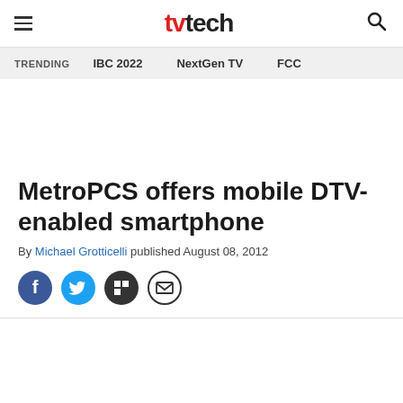tvtech
TRENDING  IBC 2022  NextGen TV  FCC
MetroPCS offers mobile DTV-enabled smartphone
By Michael Grotticelli published August 08, 2012
[Figure (other): Social sharing icons: Facebook, Twitter, Flipboard, Email]